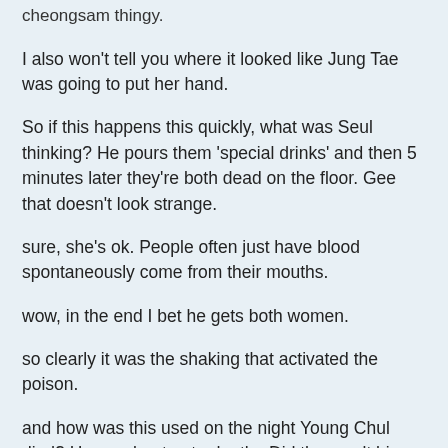cheongsam thingy.
I also won't tell you where it looked like Jung Tae was going to put her hand.
So if this happens this quickly, what was Seul thinking? He pours them 'special drinks' and then 5 minutes later they're both dead on the floor. Gee that doesn't look strange.
sure, she's ok. People often just have blood spontaneously come from their mouths.
wow, in the end I bet he gets both women.
so clearly it was the shaking that activated the poison.
and how was this used on the night Young Chul died? He was beaten to death.  Did they melt his insides first and then beat him for fun?